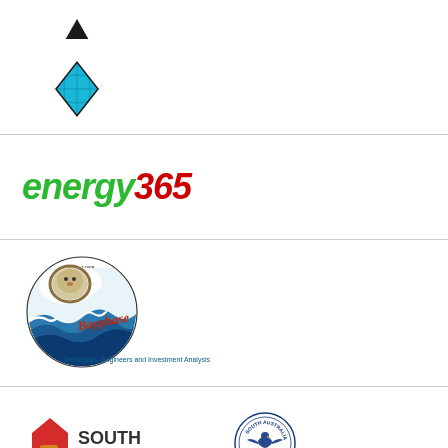[Figure (logo): OPC logo — black inverted triangle with OPC text, overlaid with a blue globe/diamond shape]
[Figure (logo): energy365 italic bold text logo, 'energy' in green, '365' in red]
[Figure (logo): Bayphase logo — circular wave illustration with 'Bayphase' in red cursive text, subtitle 'Geologists, Engineers and Investment Analysis' in blue]
[Figure (logo): South Australia government logo — red house/map shape with orange square detail and 'SOUTH AUSTRALIA' text, plus a circular South Australia emblem badge]
Government of South Australia